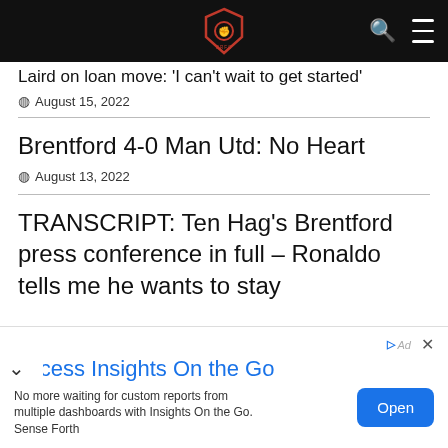BRFC [logo] navigation bar with search and menu icons
Laird on loan move: 'I can't wait to get started'
August 15, 2022
Brentford 4-0 Man Utd: No Heart
August 13, 2022
TRANSCRIPT: Ten Hag's Brentford press conference in full – Ronaldo tells me he wants to stay
[Figure (other): Advertisement banner: 'Access Insights On the Go' with Open button and subtext 'No more waiting for custom reports from multiple dashboards with Insights On the Go. Sense Forth']